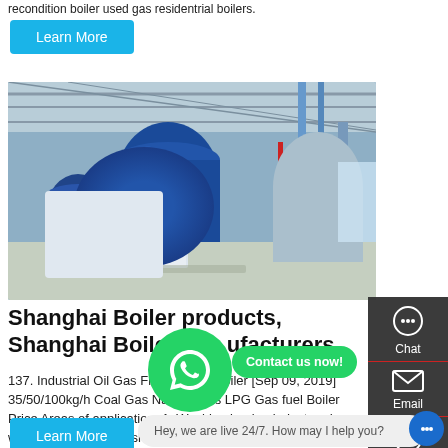recondition boiler used gas residentrial boilers.
Learn More
[Figure (photo): Industrial gas fired boiler inside a large factory/warehouse facility, showing large blue cylindrical boilers with piping and equipment.]
Shanghai Boiler products, Shanghai Boiler manufacturers
137. Industrial Oil Gas Fired Steam Boiler [Sep 09, 2019] 35/50/100kg/h Coal Gas Natural Gas LPG Gas fuel Boiler Price Areas of application: 1. Washing ironing industry: dry washer, dryer and washing
Learn More
Hey, we are live 24/7. How may I help you?